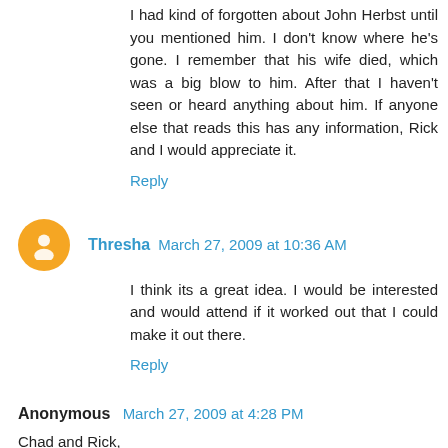I had kind of forgotten about John Herbst until you mentioned him. I don't know where he's gone. I remember that his wife died, which was a big blow to him. After that I haven't seen or heard anything about him. If anyone else that reads this has any information, Rick and I would appreciate it.
Reply
Thresha  March 27, 2009 at 10:36 AM
I think its a great idea. I would be interested and would attend if it worked out that I could make it out there.
Reply
Anonymous  March 27, 2009 at 4:28 PM
Chad and Rick,
After Cheryl's death John kind of got out of the business and went back to being a doctor. My understanding is now that he has remarried and moved on to other things. He is